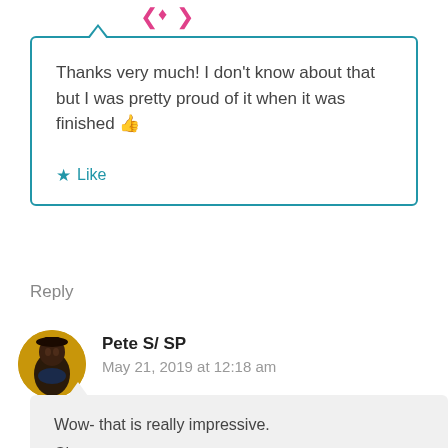[Figure (illustration): Decorative emoji/icons at the top of the page]
Thanks very much! I don't know about that but I was pretty proud of it when it was finished 👍
★ Like
Reply
[Figure (photo): Circular avatar photo of Pete S/SP — a painted portrait figure on yellow-orange background]
Pete S/ SP
May 21, 2019 at 12:18 am
Wow- that is really impressive.
Cheers,